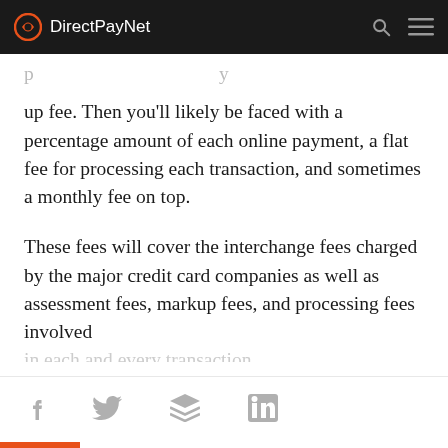DirectPayNet
up fee. Then you'll likely be faced with a percentage amount of each online payment, a flat fee for processing each transaction, and sometimes a monthly fee on top.
These fees will cover the interchange fees charged by the major credit card companies as well as assessment fees, markup fees, and processing fees involved in each and every transaction.
f  Twitter  Buffer  in